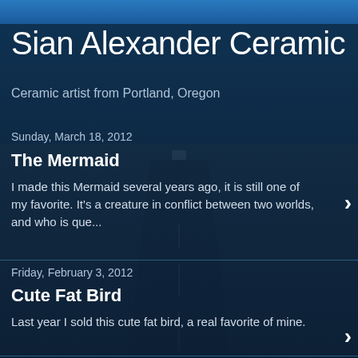Sian Alexander Ceramic
Ceramic artist from Portland, Oregon
Sunday, March 18, 2012
The Mermaid
I made this Mermaid several years ago, it is still one of my favorite. It's a creature in conflict between two worlds, and who is que...
Friday, February 3, 2012
Cute Fat Bird
Last year I sold this cute fat bird, a real favorite of mine.
Monday, November 14, 2011
Show this weekend with the